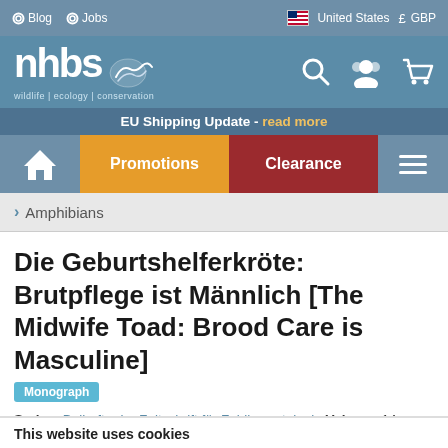Blog  Jobs  |  United States  GBP
[Figure (logo): NHBS wildlife | ecology | conservation logo with search, account, and cart icons]
EU Shipping Update - read more
Home | Promotions | Clearance | Menu
> Amphibians
Die Geburtshelferkröte: Brutpflege ist Männlich [The Midwife Toad: Brood Care is Masculine]
Monograph
Series: Beihefte der Zeitschrift für Feldherpetologie  Volume: 14
By: Heiko Uthleb (Author)
This website uses cookies